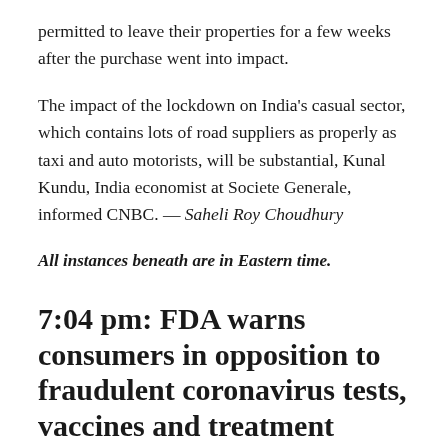permitted to leave their properties for a few weeks after the purchase went into impact.
The impact of the lockdown on India's casual sector, which contains lots of road suppliers as properly as taxi and auto motorists, will be substantial, Kunal Kundu, India economist at Societe Generale, informed CNBC. — Saheli Roy Choudhury
All instances beneath are in Eastern time.
7:04 pm: FDA warns consumers in opposition to fraudulent coronavirus tests, vaccines and treatment options